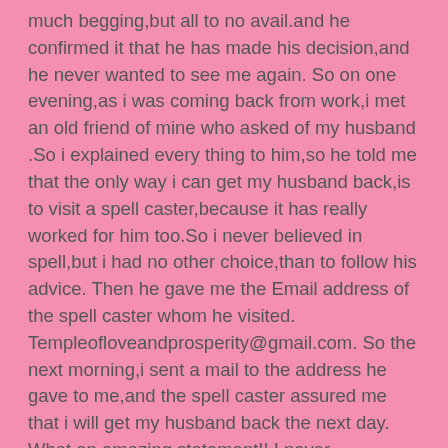much begging,but all to no avail.and he confirmed it that he has made his decision,and he never wanted to see me again. So on one evening,as i was coming back from work,i met an old friend of mine who asked of my husband .So i explained every thing to him,so he told me that the only way i can get my husband back,is to visit a spell caster,because it has really worked for him too.So i never believed in spell,but i had no other choice,than to follow his advice. Then he gave me the Email address of the spell caster whom he visited. Templeofloveandprosperity@gmail.com. So the next morning,i sent a mail to the address he gave to me,and the spell caster assured me that i will get my husband back the next day. What an amazing statement!! I never believed,so he spoke with me, and told me everything that i need to do. Then the next morning, So surprisingly, my husband who didn't call me for the past 7 months, gave me a call to inform me that he was coming back. So Amazing!! So that was how he came back that same day,with lots of love and joy,and he apologized for his mistake,and for the pain he